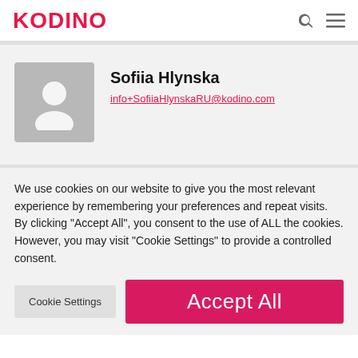KODINO
Sofiia Hlynska
info+SofiiaHlynskaRU@kodino.com
We use cookies on our website to give you the most relevant experience by remembering your preferences and repeat visits. By clicking "Accept All", you consent to the use of ALL the cookies. However, you may visit "Cookie Settings" to provide a controlled consent.
Cookie Settings
Accept All